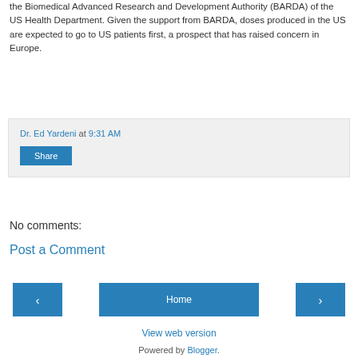the Biomedical Advanced Research and Development Authority (BARDA) of the US Health Department. Given the support from BARDA, doses produced in the US are expected to go to US patients first, a prospect that has raised concern in Europe.
Dr. Ed Yardeni at 9:31 AM
Share
No comments:
Post a Comment
‹
Home
›
View web version
Powered by Blogger.